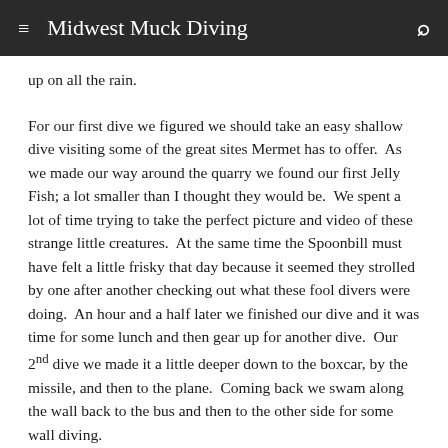≡  Midwest Muck Diving  🔍
up on all the rain.
For our first dive we figured we should take an easy shallow dive visiting some of the great sites Mermet has to offer.  As we made our way around the quarry we found our first Jelly Fish; a lot smaller than I thought they would be.  We spent a lot of time trying to take the perfect picture and video of these strange little creatures.  At the same time the Spoonbill must have felt a little frisky that day because it seemed they strolled by one after another checking out what these fool divers were doing.  An hour and a half later we finished our dive and it was time for some lunch and then gear up for another dive.  Our 2nd dive we made it a little deeper down to the boxcar, by the missile, and then to the plane.  Coming back we swam along the wall back to the bus and then to the other side for some wall diving.